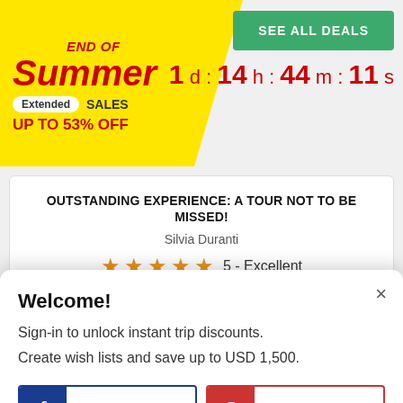[Figure (infographic): Yellow banner with 'END OF Summer Extended SALES UP TO 53% OFF' promotional text]
SEE ALL DEALS
1 d : 14 h : 44 m : 11 s
OUTSTANDING EXPERIENCE: A TOUR NOT TO BE MISSED!
Silvia Duranti
★★★★★ 5 - Excellent
"We loved the tour: it was very well organized, with a complete and exciting itinerary, that included not only the main attrac
Welcome!
Sign-in to unlock instant trip discounts.
Create wish lists and save up to USD 1,500.
FACEBOOK
GOOGLE
More login options here.